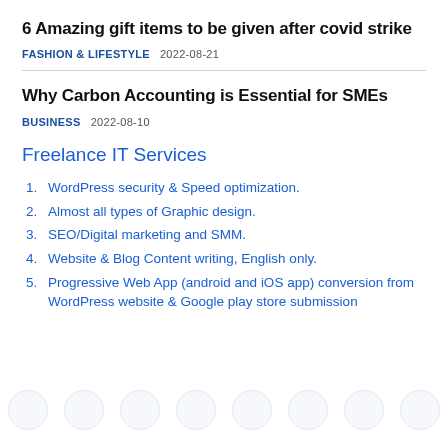6 Amazing gift items to be given after covid strike
FASHION & LIFESTYLE   2022-08-21
Why Carbon Accounting is Essential for SMEs
BUSINESS   2022-08-10
Freelance IT Services
1. WordPress security & Speed optimization.
2. Almost all types of Graphic design.
3. SEO/Digital marketing and SMM.
4. Website & Blog Content writing, English only.
5. Progressive Web App (android and iOS app) conversion from WordPress website & Google play store submission